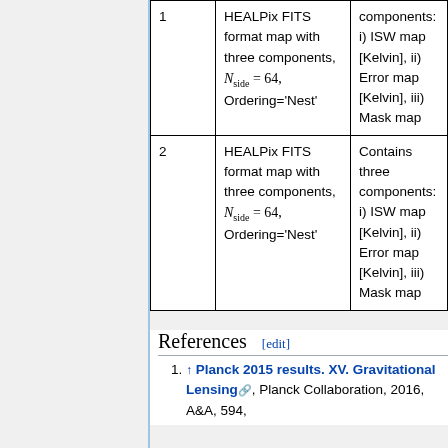|  |  |  |
| --- | --- | --- |
| 1 | HEALPix FITS format map with three components, N_side = 64, Ordering='Nest' | Contains three components: i) ISW map [Kelvin], ii) Error map [Kelvin], iii) Mask map |
| 2 | HEALPix FITS format map with three components, N_side = 64, Ordering='Nest' | Contains three components: i) ISW map [Kelvin], ii) Error map [Kelvin], iii) Mask map |
References [edit]
↑ Planck 2015 results. XV. Gravitational Lensing, Planck Collaboration, 2016, A&A, 594,